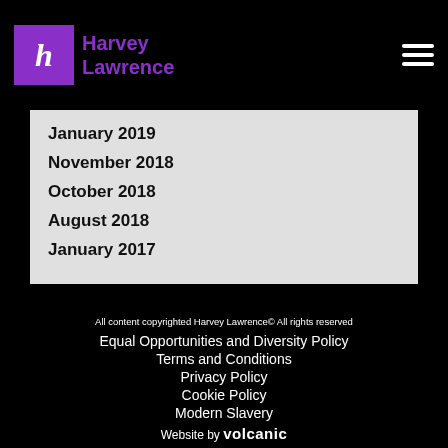Harvey Lawrence
January 2019
November 2018
October 2018
August 2018
January 2017
All content copyrighted Harvey Lawrence© All rights reserved
Equal Opportunities and Diversity Policy
Terms and Conditions
Privacy Policy
Cookie Policy
Modern Slavery
Website by volcanic